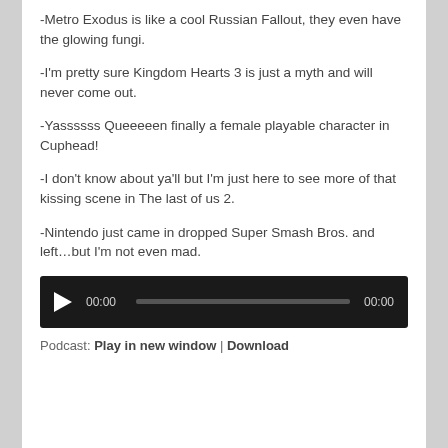-Metro Exodus is like a cool Russian Fallout, they even have the glowing fungi.
-I'm pretty sure Kingdom Hearts 3 is just a myth and will never come out.
-Yassssss Queeeeen finally a female playable character in Cuphead!
-I don't know about ya'll but I'm just here to see more of that kissing scene in The last of us 2.
-Nintendo just came in dropped Super Smash Bros. and left…but I'm not even mad.
[Figure (other): Audio player widget with play button, time display 00:00, progress bar, and end time 00:00 on dark background]
Podcast: Play in new window | Download